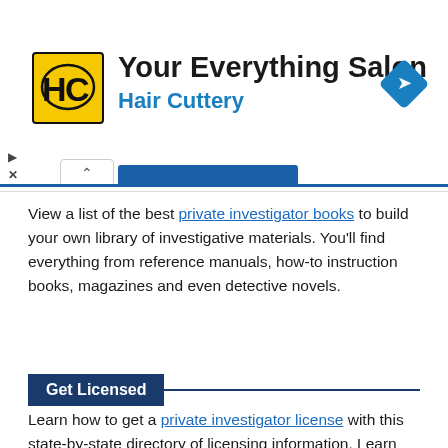[Figure (screenshot): Hair Cuttery advertisement banner showing logo with HC initials on yellow background, text 'Your Everything Salon' and 'Hair Cuttery' in blue, with a blue navigation arrow icon on the right]
View a list of the best private investigator books to build your own library of investigative materials. You'll find everything from reference manuals, how-to instruction books, magazines and even detective novels.
Get Licensed
Learn how to get a private investigator license with this state-by-state directory of licensing information. Learn the requirements, how to apply, how to join an association and where to get training.